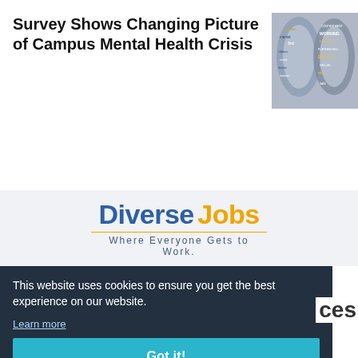Survey Shows Changing Picture of Campus Mental Health Crisis
[Figure (illustration): Two silhouettes of human heads facing each other filled with mental health related words such as suicide, contentment, working, lifeskills, children, anxiety, disorder, treatment, employment, further education, well-being.]
[Figure (logo): Diverse Jobs logo with tagline 'Where Everyone Gets to Work.' The word 'Diverse' is in bold blue and 'Jobs' is in bold orange, with an orange underline and the tagline in spaced blue-gray text below.]
This website uses cookies to ensure you get the best experience on our website.
Learn more
Got it!
ces